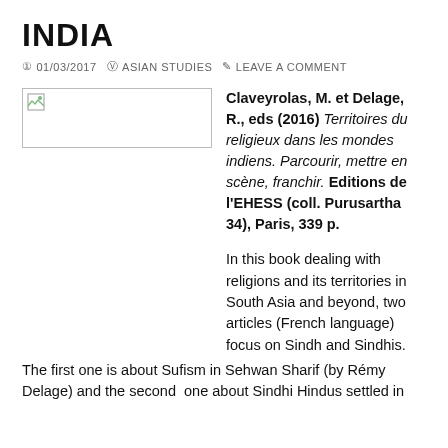INDIA
01/03/2017   ASIAN STUDIES   LEAVE A COMMENT
[Figure (illustration): Broken/placeholder image thumbnail]
Claveyrolas, M. et Delage, R., eds (2016) Territoires du religieux dans les mondes indiens. Parcourir, mettre en scène, franchir. Editions de l'EHESS (coll. Purusartha 34), Paris, 339 p.
In this book dealing with religions and its territories in South Asia and beyond, two articles (French language) focus on Sindh and Sindhis. The first one is about Sufism in Sehwan Sharif (by Rémy Delage) and the second  one about Sindhi Hindus settled in